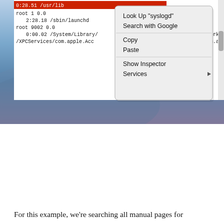[Figure (screenshot): A macOS terminal window showing 'ps' output with process entries for root user including /usr/lib, /sbin/launchd, and /System/Library paths. A context menu is overlaid showing options: Look Up 'syslogd', Search with Google, Copy, Paste, Show Inspector, Services.]
For this example, we're searching all manual pages for